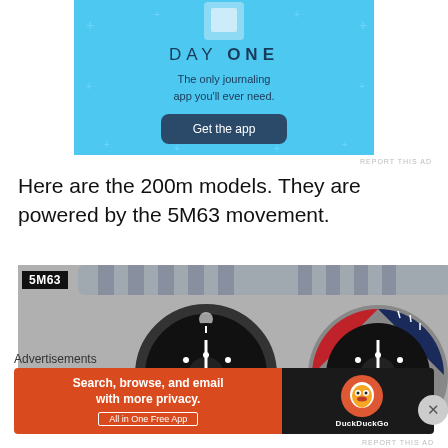[Figure (other): Day One journaling app advertisement on light blue background with 'DAY ONE' text, subtitle 'The only journaling app you'll ever need.' and a 'Get the app' button]
REPORT THIS AD
Here are the 200m models. They are powered by the 5M63 movement.
[Figure (photo): Photo of two Seiko dive watches with '5M63' label in top left. Both watches show black dials with dive bezels; the right watch has a red/blue pepsi-style bezel. Both show SEIKO branding and numerals 50 and 10 on the bezel.]
Advertisements
[Figure (other): DuckDuckGo advertisement banner with orange left panel reading 'Search, browse, and email with more privacy. All in One Free App' and dark right panel with DuckDuckGo logo]
REPORT THIS AD